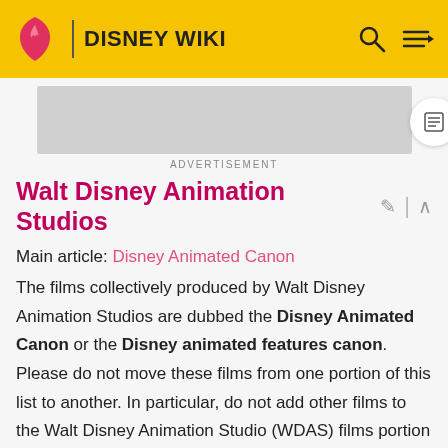DISNEY WIKI
[Figure (other): Gray advertisement placeholder box]
ADVERTISEMENT
Walt Disney Animation Studios
Main article: Disney Animated Canon
The films collectively produced by Walt Disney Animation Studios are dubbed the Disney Animated Canon or the Disney animated features canon. Please do not move these films from one portion of this list to another. In particular, do not add other films to the Walt Disney Animation Studio (WDAS) films portion of the list UNLESS Disney has announced a new WDAS production. What is and what isn't in the official canon has already been fixed;